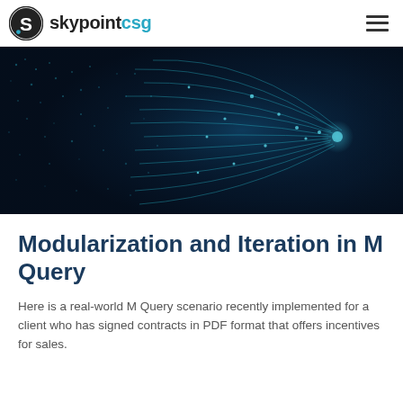skypointcsg
[Figure (photo): Abstract dark blue digital network visualization with glowing particles and flowing light streams on a dark background]
Modularization and Iteration in M Query
Here is a real-world M Query scenario recently implemented for a client who has signed contracts in PDF format that offers incentives for sales.